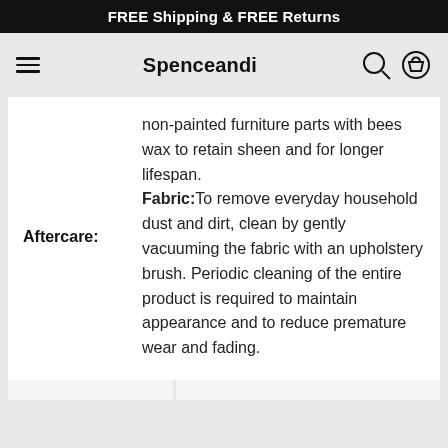FREE Shipping & FREE Returns
Spenceandi
|  |  |
| --- | --- |
| Aftercare: | non-painted furniture parts with bees wax to retain sheen and for longer lifespan. Fabric: To remove everyday household dust and dirt, clean by gently vacuuming the fabric with an upholstery brush. Periodic cleaning of the entire product is required to maintain appearance and to reduce premature wear and fading. |